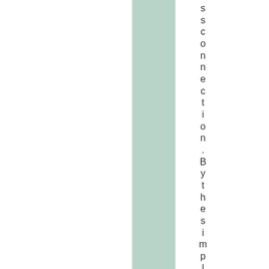[Figure (other): Decorative green vertical bar/stripe on the left-center portion of the page]
ssconnection. By the simple expedi